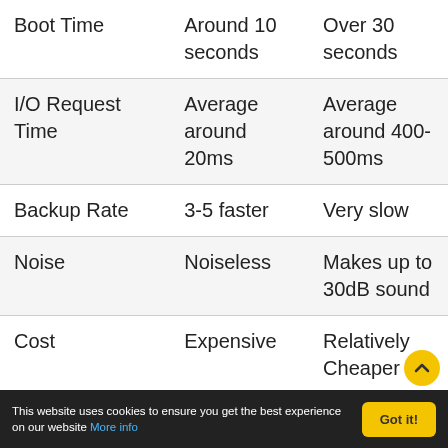| Boot Time | Around 10 seconds | Over 30 seconds |
| I/O Request Time | Average around 20ms | Average around 400-500ms |
| Backup Rate | 3-5 faster | Very slow |
| Noise | Noiseless | Makes up to 30dB sound |
| Cost | Expensive | Relatively Cheaper |
This website uses cookies to ensure you get the best experience on our website More info   Got it!